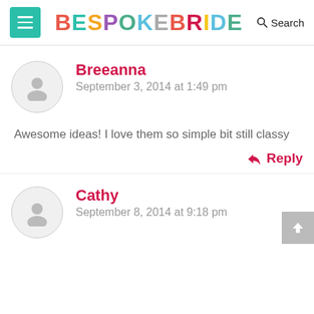BESPOKE BRIDE — Search
Breeanna
September 3, 2014 at 1:49 pm
Awesome ideas! I love them so simple bit still classy
↩ Reply
Cathy
September 8, 2014 at 9:18 pm